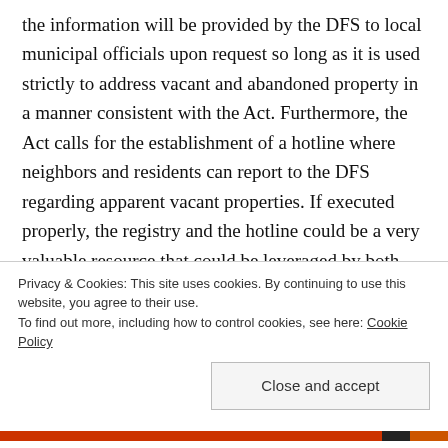the information will be provided by the DFS to local municipal officials upon request so long as it is used strictly to address vacant and abandoned property in a manner consistent with the Act. Furthermore, the Act calls for the establishment of a hotline where neighbors and residents can report to the DFS regarding apparent vacant properties. If executed properly, the registry and the hotline could be a very valuable resource that could be leveraged by both NY State and local municipal officials to ensure lenders are timely and fully addressing maintenance responsibilities on vacant
Privacy & Cookies: This site uses cookies. By continuing to use this website, you agree to their use.
To find out more, including how to control cookies, see here: Cookie Policy
Close and accept